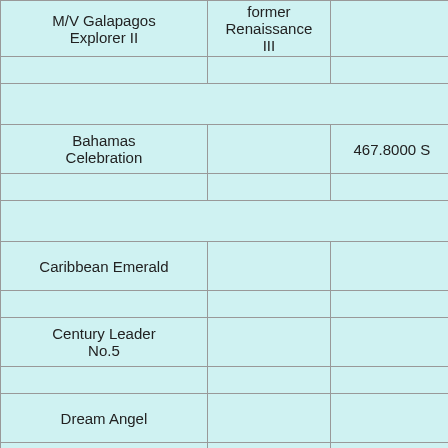| M/V Galapagos Explorer II | former Renaissance III |  |  |  |
|  |  |  |  |  |
| Celebration Cruise L… |
| Bahamas Celebration |  | 467.8000 S |  | 103. |
|  |  |  |  |  |
| CIDO Car Carrier Ser… |
| Caribbean Emerald |  |  |  |  |
|  |  |  |  |  |
| Century Leader No.5 |  |  |  |  |
|  |  |  |  |  |
| Dream Angel |  |  |  |  |
|  |  |  |  |  |
| Dream Beauty |  |  |  |  |
|  |  |  |  |  |
| Dream Diamond |  |  |  |  |
|  |  |  |  |  |